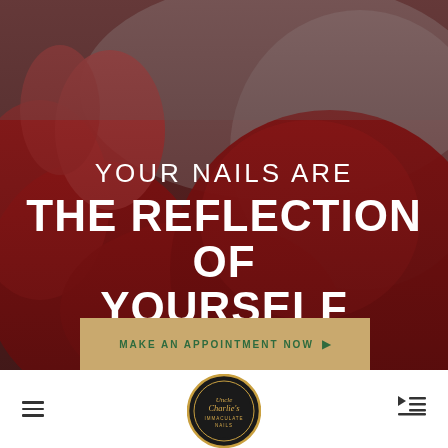[Figure (photo): Close-up photo of hands with red nail polish, used as hero background image for a nail salon website.]
YOUR NAILS ARE THE REFLECTION OF YOURSELF
MAKE AN APPOINTMENT NOW
[Figure (logo): Uncle Charlie's Immaculate Nails circular logo with gold and black design.]
[Figure (other): Hamburger menu icon (three horizontal lines) on the left side of the bottom navigation bar.]
[Figure (other): Menu/playlist icon on the right side of the bottom navigation bar.]